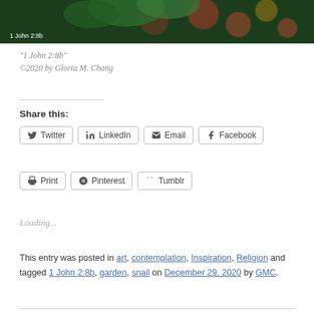[Figure (photo): Dark background with green leaves and colorful blurred flowers, with text overlay '1 John 2:8b' in white]
“1 John 2:8b”
©2020 by Gloria M. Chang
Share this:
Twitter  LinkedIn  Email  Facebook  Print  Pinterest  Tumblr
Loading...
This entry was posted in art, contemplation, Inspiration, Religion and tagged 1 John 2:8b, garden, snail on December 29, 2020 by GMC.